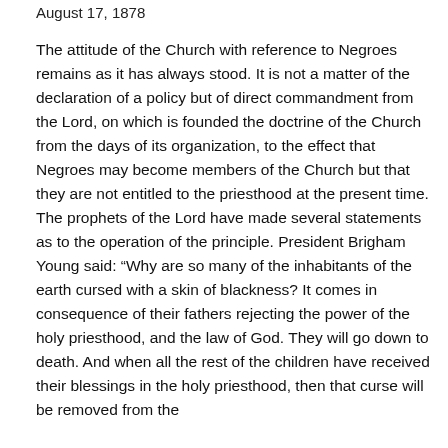August 17, 1878
The attitude of the Church with reference to Negroes remains as it has always stood. It is not a matter of the declaration of a policy but of direct commandment from the Lord, on which is founded the doctrine of the Church from the days of its organization, to the effect that Negroes may become members of the Church but that they are not entitled to the priesthood at the present time. The prophets of the Lord have made several statements as to the operation of the principle. President Brigham Young said: “Why are so many of the inhabitants of the earth cursed with a skin of blackness? It comes in consequence of their fathers rejecting the power of the holy priesthood, and the law of God. They will go down to death. And when all the rest of the children have received their blessings in the holy priesthood, then that curse will be removed from the